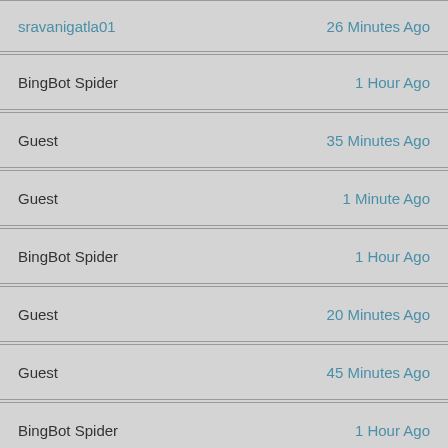| User | Time |
| --- | --- |
| sravanigatla01 | 26 Minutes Ago |
| BingBot Spider | 1 Hour Ago |
| Guest | 35 Minutes Ago |
| Guest | 1 Minute Ago |
| BingBot Spider | 1 Hour Ago |
| Guest | 20 Minutes Ago |
| Guest | 45 Minutes Ago |
| BingBot Spider | 1 Hour Ago |